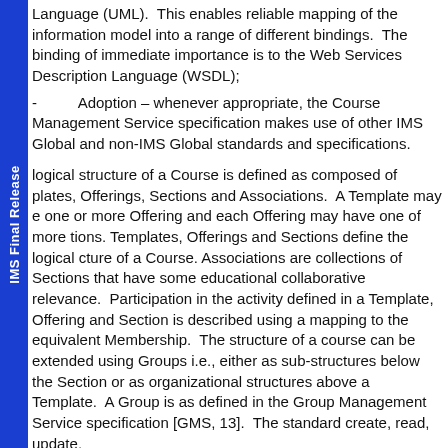Language (UML).  This enables reliable mapping of the information model into a range of different bindings.  The binding of immediate importance is to the Web Services Description Language (WSDL);
Adoption – whenever appropriate, the Course Management Service specification makes use of other IMS Global and non-IMS Global standards and specifications.
logical structure of a Course is defined as composed of plates, Offerings, Sections and Associations.  A Template may e one or more Offering and each Offering may have one of more tions. Templates, Offerings and Sections define the logical cture of a Course. Associations are collections of Sections that have some educational collaborative relevance.  Participation in the activity defined in a Template, Offering and Section is described using a mapping to the equivalent Membership.  The structure of a course can be extended using Groups i.e., either as sub-structures below the Section or as organizational structures above a Template.  A Group is as defined in the Group Management Service specification [GMS, 13].  The standard create, read, update,